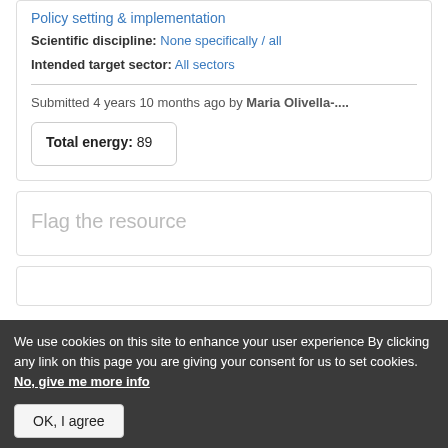Policy setting & implementation
Scientific discipline: None specifically / all
Intended target sector: All sectors
Submitted 4 years 10 months ago by Maria Olivella-....
Total energy: 89
Flag the resource
We use cookies on this site to enhance your user experience By clicking any link on this page you are giving your consent for us to set cookies. No, give me more info
OK, I agree